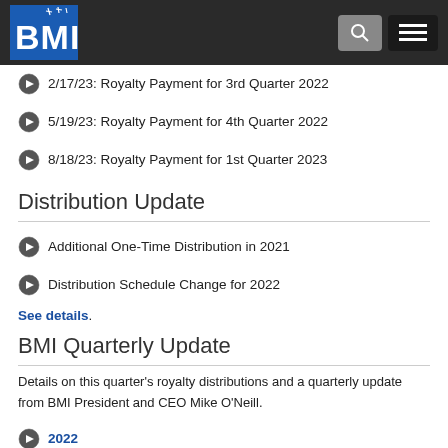BMI
2/17/23: Royalty Payment for 3rd Quarter 2022
5/19/23: Royalty Payment for 4th Quarter 2022
8/18/23: Royalty Payment for 1st Quarter 2023
Distribution Update
Additional One-Time Distribution in 2021
Distribution Schedule Change for 2022
See details.
BMI Quarterly Update
Details on this quarter's royalty distributions and a quarterly update from BMI President and CEO Mike O'Neill.
2022